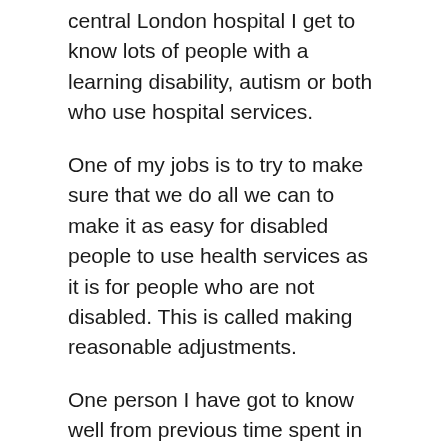central London hospital I get to know lots of people with a learning disability, autism or both who use hospital services.
One of my jobs is to try to make sure that we do all we can to make it as easy for disabled people to use health services as it is for people who are not disabled. This is called making reasonable adjustments.
One person I have got to know well from previous time spent in hospital is Tim (not his real name) and I know that he gets extremely anxious around hospitals; so when I had a call from a triage nurse in our emergency department saying Tim was sitting in a car outside the department with his carers I went to help.
Tim has a learning disability and autism and only uses a few words but gestures well. Tim's carers had brought him to the hospital because they were worried he had lost weight and was not eating or drinking very